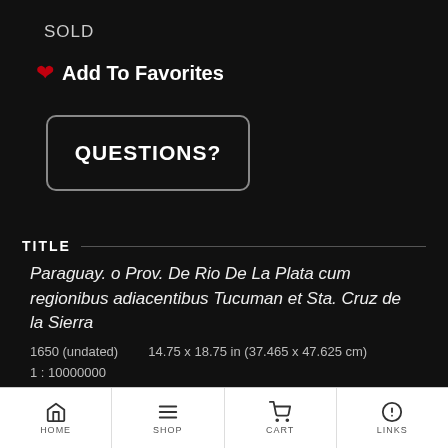SOLD
♥ Add To Favorites
QUESTIONS?
TITLE
Paraguay. o Prov. De Rio De La Plata cum regionibus adiacentibus Tucuman et Sta. Cruz de la Sierra
1650 (undated)    14.75 x 18.75 in (37.465 x 47.625 cm)
1 : 10000000
HOME  SHOP  CART  LINKS